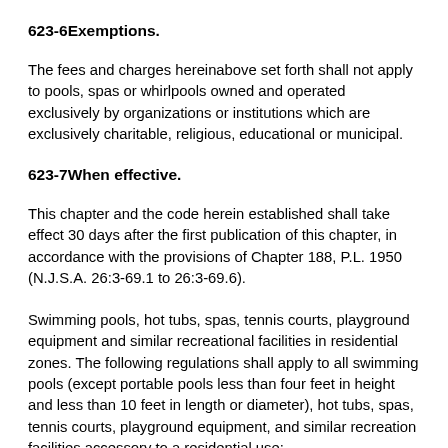623-6Exemptions.
The fees and charges hereinabove set forth shall not apply to pools, spas or whirlpools owned and operated exclusively by organizations or institutions which are exclusively charitable, religious, educational or municipal.
623-7When effective.
This chapter and the code herein established shall take effect 30 days after the first publication of this chapter, in accordance with the provisions of Chapter 188, P.L. 1950 (N.J.S.A. 26:3-69.1 to 26:3-69.6).
Swimming pools, hot tubs, spas, tennis courts, playground equipment and similar recreational facilities in residential zones. The following regulations shall apply to all swimming pools (except portable pools less than four feet in height and less than 10 feet in length or diameter), hot tubs, spas, tennis courts, playground equipment, and similar recreation facilities accessory to a residential use: